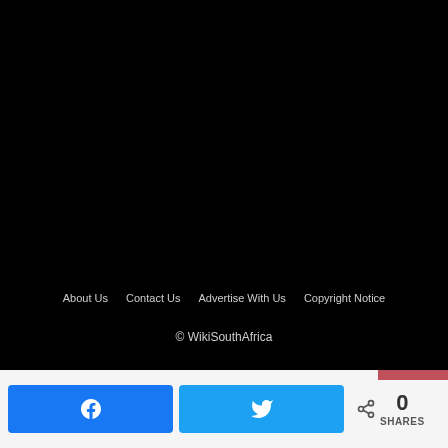[Figure (screenshot): Black background section covering upper portion of page]
About Us   Contact Us   Advertise With Us   Copyright Notice
© WikiSouthAfrica
[Figure (other): Social share bar with Facebook and Twitter buttons and share count of 0]